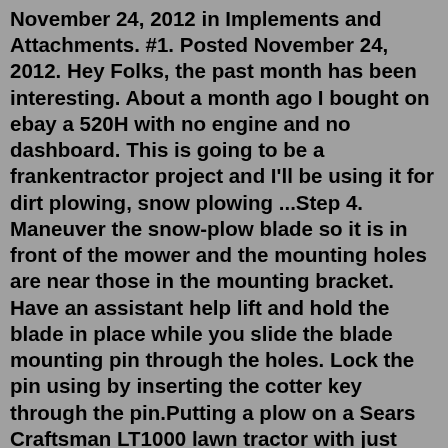November 24, 2012 in Implements and Attachments. #1. Posted November 24, 2012. Hey Folks, the past month has been interesting. About a month ago I bought on ebay a 520H with no engine and no dashboard. This is going to be a frankentractor project and I'll be using it for dirt plowing, snow plowing ...Step 4. Maneuver the snow-plow blade so it is in front of the mower and the mounting holes are near those in the mounting bracket. Have an assistant help lift and hold the blade in place while you slide the blade mounting pin through the holes. Lock the pin using by inserting the cotter key through the pin.Putting a plow on a Sears Craftsman LT1000 lawn tractor with just common tools. chop saw, Makita grinder with cutoff wheel, stick welder, relays, actuators, ... Browse search results for craftsman lt4000 plow for sale in Massachusetts. AmericanListed features safe and local classifieds for everything you need! States. For Sale. Real Estate. ... 2003 Craftsman LT2000 riding mower with 42 inch snowblow attachment, tire chains, wheel rights...